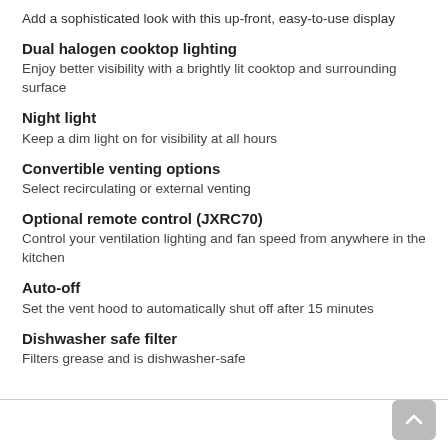Add a sophisticated look with this up-front, easy-to-use display
Dual halogen cooktop lighting
Enjoy better visibility with a brightly lit cooktop and surrounding surface
Night light
Keep a dim light on for visibility at all hours
Convertible venting options
Select recirculating or external venting
Optional remote control (JXRC70)
Control your ventilation lighting and fan speed from anywhere in the kitchen
Auto-off
Set the vent hood to automatically shut off after 15 minutes
Dishwasher safe filter
Filters grease and is dishwasher-safe